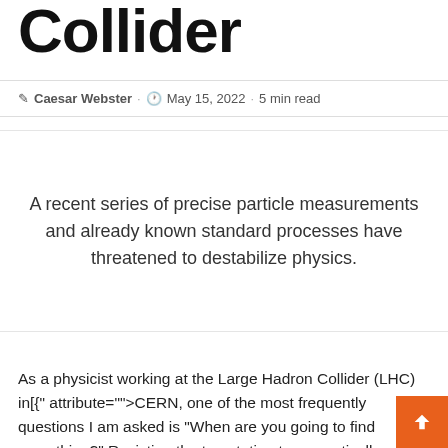Collider
Caesar Webster · May 15, 2022 · 5 min read
A recent series of precise particle measurements and already known standard processes have threatened to destabilize physics.
As a physicist working at the Large Hadron Collider (LHC) in[{" attribute="">CERN, one of the most frequently questions I am asked is “When are you going to find something?” Resisting the temptation to sarcastically